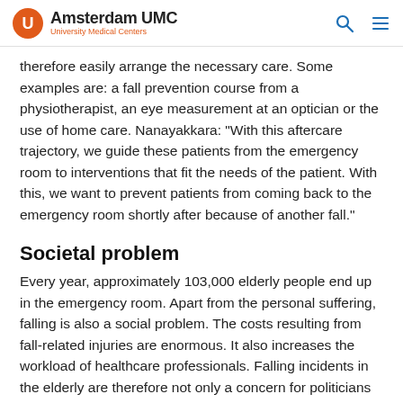Amsterdam UMC University Medical Centers
therefore easily arrange the necessary care. Some examples are: a fall prevention course from a physiotherapist, an eye measurement at an optician or the use of home care. Nanayakkara: "With this aftercare trajectory, we guide these patients from the emergency room to interventions that fit the needs of the patient. With this, we want to prevent patients from coming back to the emergency room shortly after because of another fall."
Societal problem
Every year, approximately 103,000 elderly people end up in the emergency room. Apart from the personal suffering, falling is also a social problem. The costs resulting from fall-related injuries are enormous. It also increases the workload of healthcare professionals. Falling incidents in the elderly are therefore not only a concern for politicians and policy makers, but also for the care providers